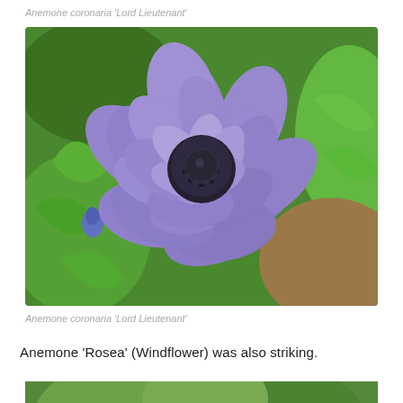Anemone coronaria 'Lord Lieutenant'
[Figure (photo): Close-up photograph of a large purple Anemone coronaria 'Lord Lieutenant' flower with a dark center, surrounded by green foliage and mulch, viewed from above.]
Anemone coronaria 'Lord Lieutenant'
Anemone 'Rosea' (Windflower) was also striking.
[Figure (photo): Partial view of another flower photograph at the bottom of the page.]